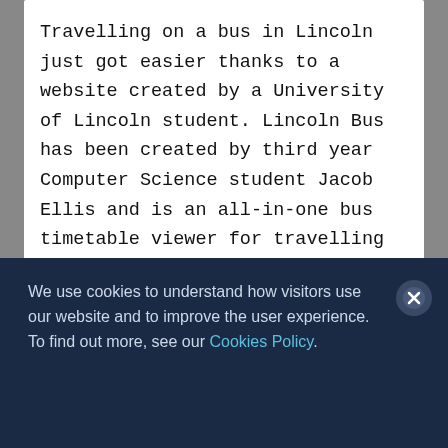Travelling on a bus in Lincoln just got easier thanks to a website created by a University of Lincoln student. Lincoln Bus has been created by third year Computer Science student Jacob Ellis and is an all-in-one bus timetable viewer for travelling around Lincoln. The website hopes to help people check all bus services, routes…
We use cookies to understand how visitors use our website and to improve the user experience. To find out more, see our Cookies Policy.